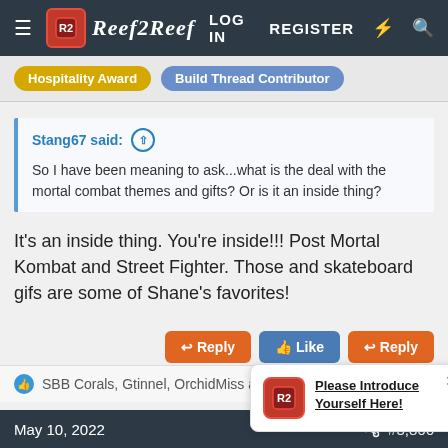LOG IN  REGISTER
Hospitality Award  Build Thread Contributor
Stang67 said: ↑

So I have been meaning to ask...what is the deal with the mortal combat themes and gifts? Or is it an inside thing?
It's an inside thing. You're inside!!! Post Mortal Kombat and Street Fighter. Those and skateboard gifs are some of Shane's favorites!
Reply  Like  Reply
SBB Corals, Gtinnel, OrchidMiss and 2 others
Please Introduce Yourself Here!
May 10, 2022  #3,866